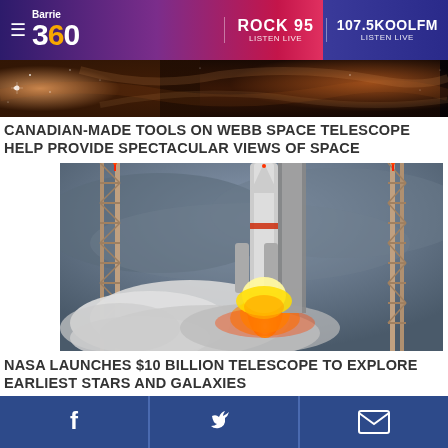Barrie 360 | ROCK 95 LISTEN LIVE | 107.5KOOLFM LISTEN LIVE
[Figure (photo): Space nebula banner image showing stars and nebula clouds in orange and blue tones]
CANADIAN-MADE TOOLS ON WEBB SPACE TELESCOPE HELP PROVIDE SPECTACULAR VIEWS OF SPACE
[Figure (photo): Rocket launch photo showing a rocket lifting off with fire and smoke clouds at night or dusk, with launch tower structures visible]
NASA LAUNCHES $10 BILLION TELESCOPE TO EXPLORE EARLIEST STARS AND GALAXIES
[Figure (infographic): Social share buttons bar with Facebook, Twitter, and Email icons on dark blue background]